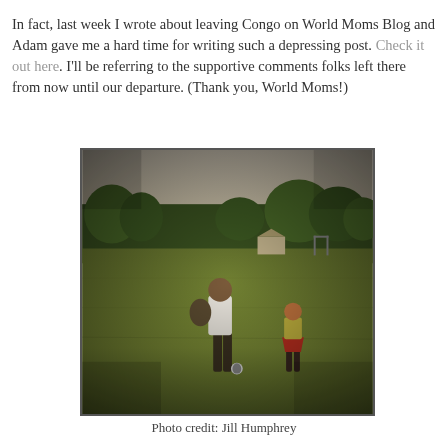In fact, last week I wrote about leaving Congo on World Moms Blog and Adam gave me a hard time for writing such a depressing post. Check it out here. I'll be referring to the supportive comments folks left there from now until our departure. (Thank you, World Moms!)
[Figure (photo): A person standing in a large grassy field in what appears to be Congo, holding a baby and standing near a soccer ball, with a young girl in a red skirt nearby. Trees and a small building are visible in the background. The photo has a vintage, warm-toned processing style.]
Photo credit: Jill Humphrey